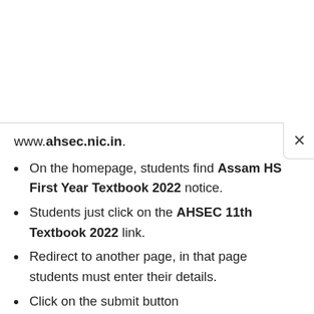www.ahsec.nic.in.
On the homepage, students find Assam HS First Year Textbook 2022 notice.
Students just click on the AHSEC 11th Textbook 2022 link.
Redirect to another page, in that page students must enter their details.
Click on the submit button
Students have to get Assam HS First